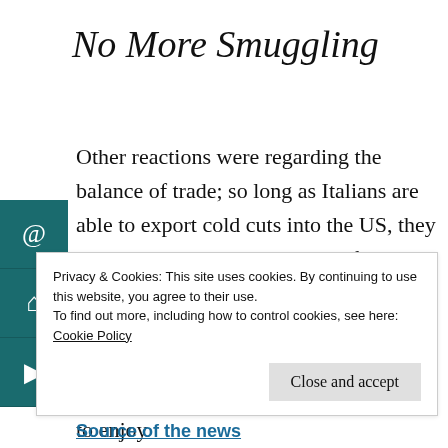No More Smuggling
Other reactions were regarding the balance of trade; so long as Italians are able to export cold cuts into the US, they should also agree to import beef products. As of today, the US cannot export beef and other meat products into Italy. And of course American Italians had their say too; now, they will be able to enjoy pork products just like those that Italians in
Privacy & Cookies: This site uses cookies. By continuing to use this website, you agree to their use.
To find out more, including how to control cookies, see here:
Cookie Policy

Close and accept
Source of the news